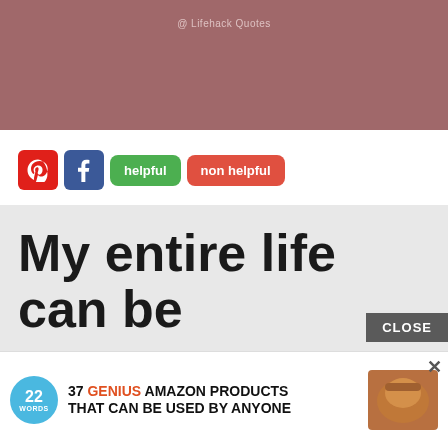[Figure (illustration): Dusty rose/mauve colored header banner with small watermark text '@Lifehack Quotes' centered near top]
[Figure (infographic): Row of social sharing and voting buttons: Pinterest (red), Facebook (blue), 'helpful' (green rounded), 'non helpful' (red rounded)]
[Figure (screenshot): Quote image on light gray background with bold black text reading 'My entire life can be summarized in one sentence: It didn't go...' (partially visible)]
[Figure (infographic): Ad overlay: '22 Words' logo circle, text '37 GENIUS AMAZON PRODUCTS THAT CAN BE USED BY ANYONE', product image on right, X close button, CLOSE button above]